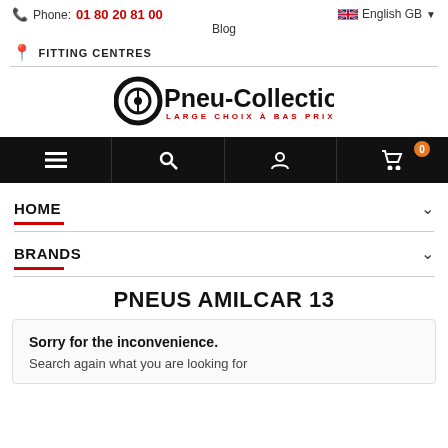Phone: 01 80 20 81 00  |  Blog  |  English GB
FITTING CENTRES
[Figure (logo): Pneu-Collection.fr logo with tire icon and tagline LARGE CHOIX À BAS PRIX]
[Figure (screenshot): Black navigation bar with hamburger menu, search, user, and cart icons (cart shows badge 0)]
HOME
BRANDS
PNEUS AMILCAR 13
Sorry for the inconvenience.
Search again what you are looking for